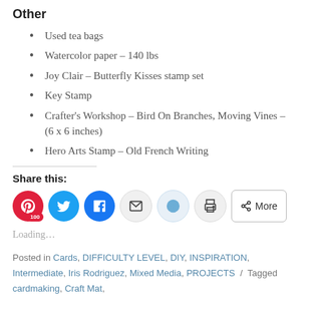Other
Used tea bags
Watercolor paper – 140 lbs
Joy Clair – Butterfly Kisses stamp set
Key Stamp
Crafter's Workshop – Bird On Branches, Moving Vines – (6 x 6 inches)
Hero Arts Stamp – Old French Writing
Share this:
[Figure (infographic): Social share buttons: Pinterest (100), Twitter, Facebook, Email, Reddit, Print, and a More button]
Loading...
Posted in Cards, DIFFICULTY LEVEL, DIY, INSPIRATION, Intermediate, Iris Rodriguez, Mixed Media, PROJECTS / Tagged cardmaking, Craft Mat,